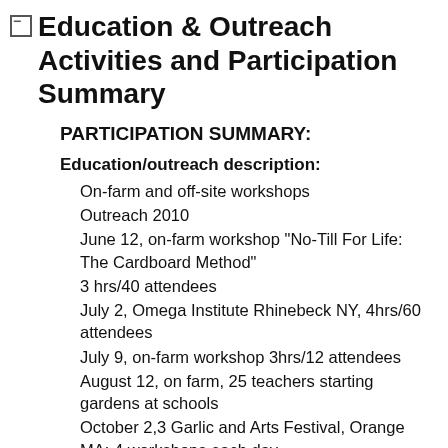Education & Outreach Activities and Participation Summary
PARTICIPATION SUMMARY:
Education/outreach description:
On-farm and off-site workshops
Outreach 2010
June 12, on-farm workshop "No-Till For Life: The Cardboard Method"
3 hrs/40 attendees
July 2, Omega Institute Rhinebeck NY, 4hrs/60 attendees
July 9, on-farm workshop 3hrs/12 attendees
August 12, on farm, 25 teachers starting gardens at schools
October 2,3 Garlic and Arts Festival, Orange MA: 4 workshops each day
30mins.~20 people at each